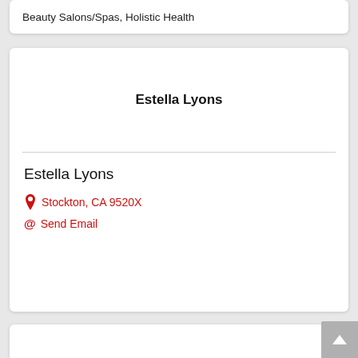Beauty Salons/Spas, Holistic Health
Estella Lyons
Estella Lyons
Stockton, CA 9520X
Send Email